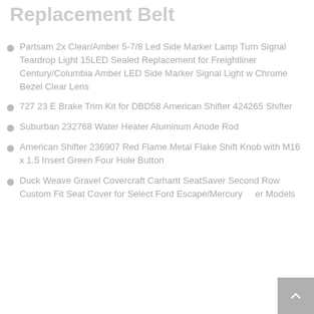Replacement Belt
Partsam 2x Clear/Amber 5-7/8 Led Side Marker Lamp Turn Signal Teardrop Light 15LED Sealed Replacement for Freightliner Century/Columbia Amber LED Side Marker Signal Light w Chrome Bezel Clear Lens
727 23 E Brake Trim Kit for DBD58 American Shifter 424265 Shifter
Suburban 232768 Water Heater Aluminum Anode Rod
American Shifter 236907 Red Flame Metal Flake Shift Knob with M16 x 1.5 Insert Green Four Hole Button
Duck Weave Gravel Covercraft Carhartt SeatSaver Second Row Custom Fit Seat Cover for Select Ford Escape/Mercury Mariner Models